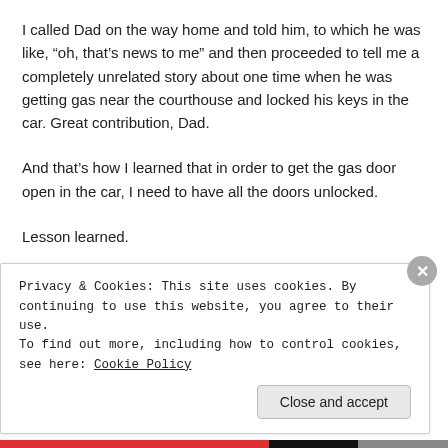I called Dad on the way home and told him, to which he was like, “oh, that’s news to me” and then proceeded to tell me a completely unrelated story about one time when he was getting gas near the courthouse and locked his keys in the car. Great contribution, Dad.
And that’s how I learned that in order to get the gas door open in the car, I need to have all the doors unlocked.
Lesson learned.
Oh, and BTW, I was watching my interactive map yesterday and in mid-afternoon I had exactly two visitors: one from North eastern Massachusetts USA and the other from...
Privacy & Cookies: This site uses cookies. By continuing to use this website, you agree to their use.
To find out more, including how to control cookies, see here: Cookie Policy
Close and accept